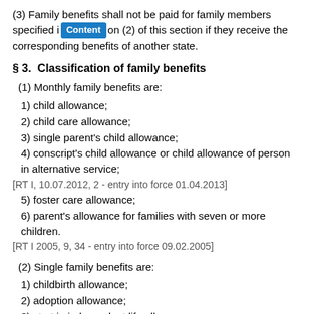(3) Family benefits shall not be paid for family members specified in [Content] on (2) of this section if they receive the corresponding benefits of another state.
§ 3.  Classification of family benefits
(1) Monthly family benefits are:
1) child allowance;
2) child care allowance;
3) single parent's child allowance;
4) conscript's child allowance or child allowance of person in alternative service;
[RT I, 10.07.2012, 2 - entry into force 01.04.2013]
5) foster care allowance;
6) parent's allowance for families with seven or more children.
[RT I 2005, 9, 34 - entry into force 09.02.2005]
(2) Single family benefits are:
1) childbirth allowance;
2) adoption allowance;
3) start in independent life allowance.
(2¹) A family benefit which is dependent on family income is a needs-based family benefit.